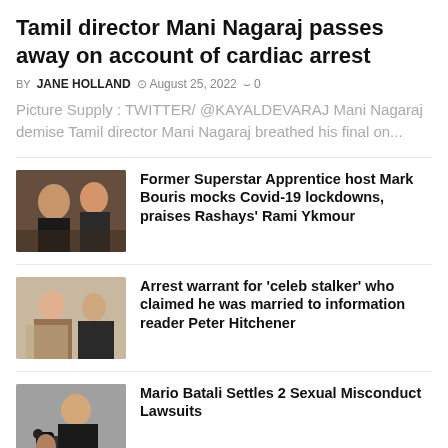Tamil director Mani Nagaraj passes away on account of cardiac arrest
BY JANE HOLLAND  August 25, 2022  0
Picture Supply : TWITTER/ @KAYALDEVARAJ Mani Nagaraj demise Tamil director Mani Nagaraj breathed his final on...
[Figure (photo): Photo of two men smiling]
Former Superstar Apprentice host Mark Bouris mocks Covid-19 lockdowns, praises Rashays' Rami Ykmour
[Figure (photo): Photo of a woman and man posing]
Arrest warrant for 'celeb stalker' who claimed he was married to information reader Peter Hitchener
[Figure (photo): Photo of an older man with camera]
Mario Batali Settles 2 Sexual Misconduct Lawsuits
[Figure (photo): Photo of a woman beside a Pocahontas illustration]
Disney 'Pocahontas' Star Irene Bedard Arrested Once more, and the Particulars Are Regarding